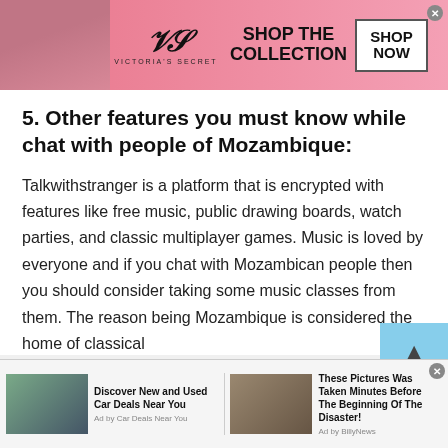[Figure (screenshot): Victoria's Secret advertisement banner with model, VS logo, 'SHOP THE COLLECTION' text, and 'SHOP NOW' button]
5. Other features you must know while chat with people of Mozambique:
Talkwithstranger is a platform that is encrypted with features like free music, public drawing boards, watch parties, and classic multiplayer games. Music is loved by everyone and if you chat with Mozambican people then you should consider taking some music classes from them. The reason being Mozambique is considered the home of classical
[Figure (screenshot): Bottom advertisement bar with two ad items: 'Discover New and Used Car Deals Near You' by Car Deals Near You, and 'These Pictures Was Taken Minutes Before The Beginning Of The Disaster!' by BillyNews]